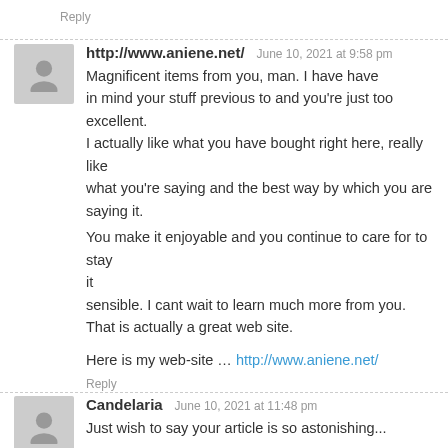Reply
http://www.aniene.net/   June 10, 2021 at 9:58 pm
Magnificent items from you, man. I have have in mind your stuff previous to and you're just too excellent. I actually like what you have bought right here, really like what you're saying and the best way by which you are saying it.
You make it enjoyable and you continue to care for to stay it sensible. I cant wait to learn much more from you. That is actually a great web site.

Here is my web-site … http://www.aniene.net/
Reply
Candelaria   June 10, 2021 at 11:48 pm
Just wish to say your article is so astonishing...